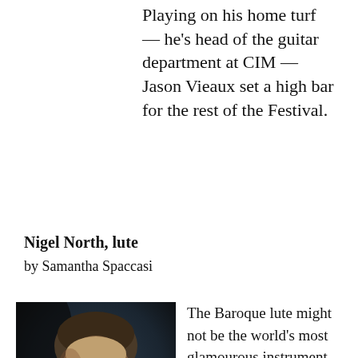Playing on his home turf — he's head of the guitar department at CIM — Jason Vieaux set a high bar for the rest of the Festival.
Nigel North, lute
by Samantha Spaccasi
[Figure (photo): Portrait photograph of Nigel North, a middle-aged man with grey-brown hair and beard, wearing a blue shirt, resting his chin on his arms]
The Baroque lute might not be the world's most glamourous instrument, but no one would ever